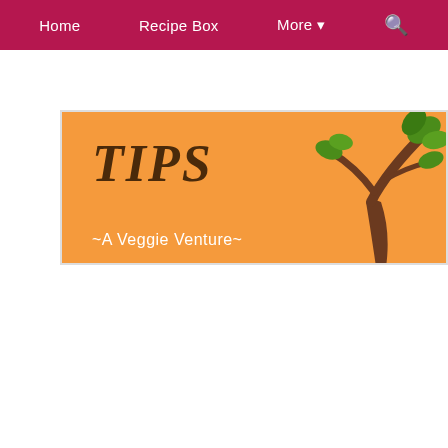Home | Recipe Box | More | Search
[Figure (illustration): Orange banner with bold distressed text reading TIPS and a tree with green leaves on the right side. White text at the bottom reads ~A Veggie Venture~]
[Figure (illustration): White card with gold double border. Large bold green text reading 'How to Shop at a Farmers Market'. An orange decorative underline divider. Italic green script text reading '~ Insight from a Veteran Shopper ~']